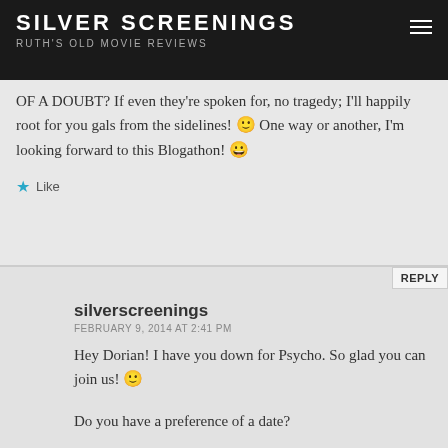SILVER SCREENINGS
RUTH'S OLD MOVIE REVIEWS
OF A DOUBT? If even they're spoken for, no tragedy; I'll happily root for you gals from the sidelines! 🙂 One way or another, I'm looking forward to this Blogathon! 😀
silverscreenings
FEBRUARY 9, 2014 AT 2:41 PM
Hey Dorian! I have you down for Psycho. So glad you can join us! 🙂

Do you have a preference of a date?